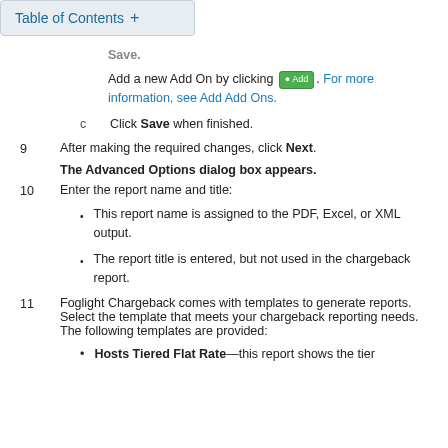Table of Contents +
Save.
Add a new Add On by clicking [Add icon]. For more information, see Add Add Ons.
c   Click Save when finished.
9   After making the required changes, click Next.
The Advanced Options dialog box appears.
10   Enter the report name and title:
This report name is assigned to the PDF, Excel, or XML output.
The report title is entered, but not used in the chargeback report.
11   Foglight Chargeback comes with templates to generate reports. Select the template that meets your chargeback reporting needs. The following templates are provided:
Hosts Tiered Flat Rate—this report shows the tier…